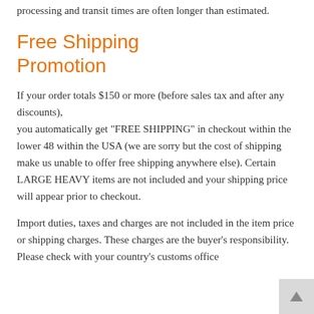processing and transit times are often longer than estimated.
Free Shipping Promotion
If your order totals $150 or more (before sales tax and after any discounts), you automatically get "FREE SHIPPING" in checkout within the lower 48 within the USA (we are sorry but the cost of shipping make us unable to offer free shipping anywhere else). Certain LARGE HEAVY items are not included and your shipping price will appear prior to checkout.
Import duties, taxes and charges are not included in the item price or shipping charges. These charges are the buyer's responsibility. Please check with your country's customs office